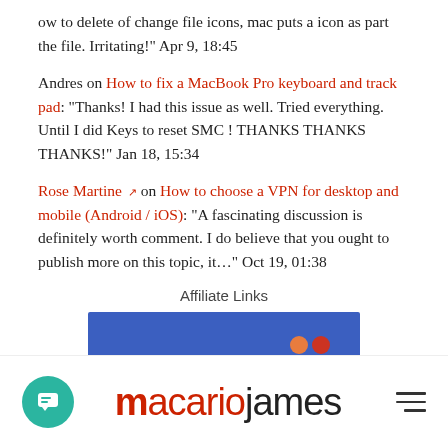ow to delete of change file icons, mac puts a icon as part the file. Irritating!" Apr 9, 18:45
Andres on How to fix a MacBook Pro keyboard and track pad: "Thanks! I had this issue as well. Tried everything. Until I did Keys to reset SMC ! THANKS THANKS THANKS!" Jan 18, 15:34
Rose Martine [external link] on How to choose a VPN for desktop and mobile (Android / iOS): "A fascinating discussion is definitely worth comment. I do believe that you ought to publish more on this topic, it..." Oct 19, 01:38
Affiliate Links
[Figure (other): Blue affiliate banner with orange and red circular dots in the lower right]
macariojames — site footer with chat button and hamburger menu